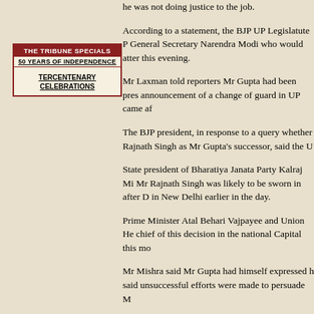he was not doing justice to the job.
[Figure (other): THE TRIBUNE SPECIALS box with 50 YEARS OF INDEPENDENCE and TERCENTENARY CELEBRATIONS links]
According to a statement, the BJP UP Legislatute Party General Secretary Narendra Modi who would atter this evening.
Mr Laxman told reporters Mr Gupta had been pres announcement of a change of guard in UP came af
The BJP president, in response to a query whether Rajnath Singh as Mr Gupta's successor, said the U
State president of Bharatiya Janata Party Kalraj Mi Mr Rajnath Singh was likely to be sworn in after D in New Delhi earlier in the day.
Prime Minister Atal Behari Vajpayee and Union He chief of this decision in the national Capital this mo
Mr Mishra said Mr Gupta had himself expressed h said unsuccessful efforts were made to persuade M
He informed that the final modalities about change or two. The BJP Legislature Party would meet tom
The decision to replace Mr Gupta by Mr Rajnath S Prime Minister, was convalescing at Beach Candy